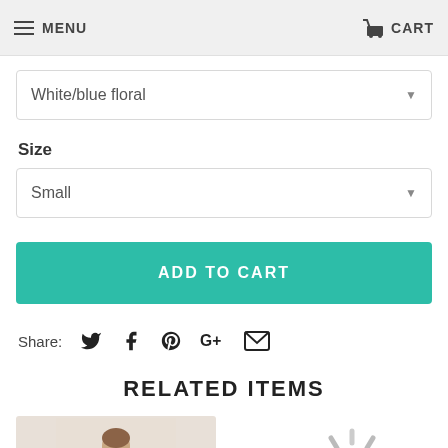MENU | CART
White/blue floral
Size
Small
ADD TO CART
Share:
RELATED ITEMS
[Figure (photo): Product thumbnail showing a woman model]
[Figure (other): Loading spinner graphic]